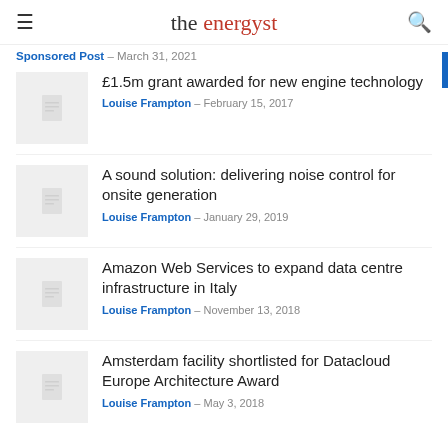the energyst
Sponsored Post - March 31, 2021
£1.5m grant awarded for new engine technology
Louise Frampton - February 15, 2017
A sound solution: delivering noise control for onsite generation
Louise Frampton - January 29, 2019
Amazon Web Services to expand data centre infrastructure in Italy
Louise Frampton - November 13, 2018
Amsterdam facility shortlisted for Datacloud Europe Architecture Award
Louise Frampton - May 3, 2018